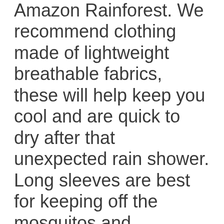Amazon Rainforest. We recommend clothing made of lightweight breathable fabrics, these will help keep you cool and are quick to dry after that unexpected rain shower. Long sleeves are best for keeping off the mosquitos and protection against UV rays. Clothing with a tight or slim fit is not generally recommended since they will not protect you from mosquitos who can bite right through even surprisingly thick fabrics. Remember, you do not have to break the bank, but purchasing a few pieces of quality clothing...